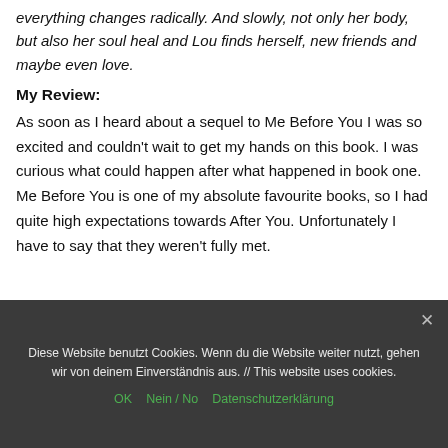everything changes radically. And slowly, not only her body, but also her soul heal and Lou finds herself, new friends and maybe even love.
My Review:
As soon as I heard about a sequel to Me Before You I was so excited and couldn't wait to get my hands on this book. I was curious what could happen after what happened in book one. Me Before You is one of my absolute favourite books, so I had quite high expectations towards After You. Unfortunately I have to say that they weren't fully met.
Diese Website benutzt Cookies. Wenn du die Website weiter nutzt, gehen wir von deinem Einverständnis aus. // This website uses cookies.
OK   Nein / No   Datenschutzerklärung